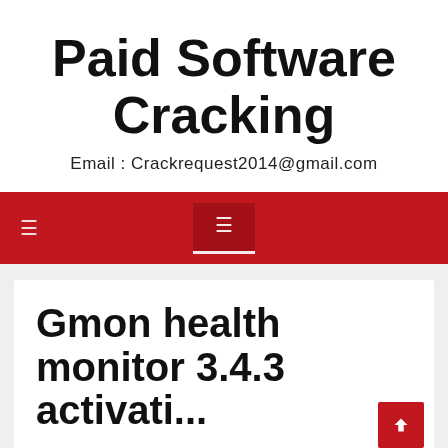Paid Software Cracking
Email : Crackrequest2014@gmail.com
Navigation bar with menu icons
Gmon health monitor 3.4.3 activation...